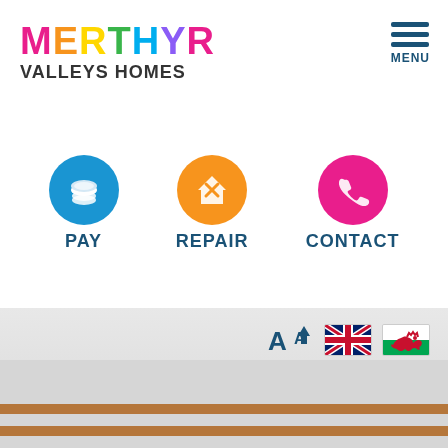[Figure (logo): Merthyr Valleys Homes logo with multicolored MERTHYR text and black VALLEYS HOMES subtitle]
[Figure (infographic): Navigation icon: blue circle with coins icon labeled PAY]
[Figure (infographic): Navigation icon: orange circle with repair/tools icon labeled REPAIR]
[Figure (infographic): Navigation icon: pink circle with phone icon labeled CONTACT]
[Figure (infographic): Toolbar with font-size toggle (A+ Aa), UK flag, and Welsh dragon flag]
[Figure (illustration): Decorative wooden picket fence illustration at the bottom of the page on a grey background]